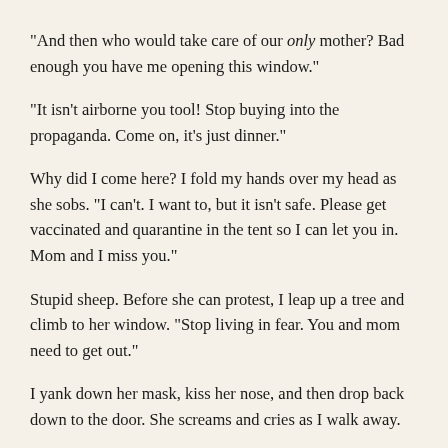"And then who would take care of our only mother? Bad enough you have me opening this window."
"It isn't airborne you tool! Stop buying into the propaganda. Come on, it's just dinner."
Why did I come here? I fold my hands over my head as she sobs. "I can't. I want to, but it isn't safe. Please get vaccinated and quarantine in the tent so I can let you in. Mom and I miss you."
Stupid sheep. Before she can protest, I leap up a tree and climb to her window. "Stop living in fear. You and mom need to get out."
I yank down her mask, kiss her nose, and then drop back down to the door. She screams and cries as I walk away.
She'll see. When she's fine in a week, two weeks, maybe a month. She'll see the world isn't dangerous, and neither am I.
No dinner here, so I trudge down to the mall. Flopping onto a bench, I wait for my coughing fit to end. Probably just thirsty.